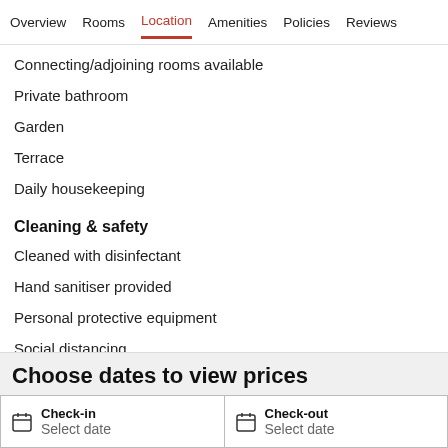Overview  Rooms  Location  Amenities  Policies  Reviews
Connecting/adjoining rooms available
Private bathroom
Garden
Terrace
Daily housekeeping
Cleaning & safety
Cleaned with disinfectant
Hand sanitiser provided
Personal protective equipment
Social distancing
Choose dates to view prices
Check-in
Select date
Check-out
Select date